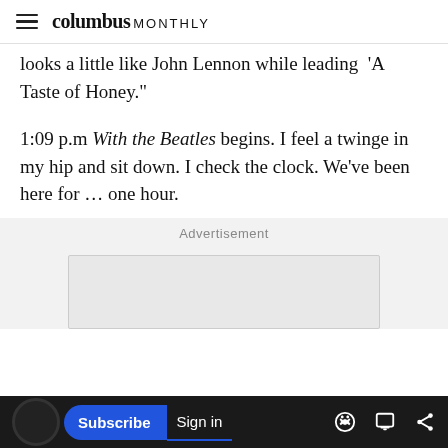columbus MONTHLY
looks a little like John Lennon while leading  'A Taste of Honey.'
1:09 p.m With the Beatles begins. I feel a twinge in my hip and sit down. I check the clock. We've been here for … one hour.
Advertisement
Subscribe  Sign in